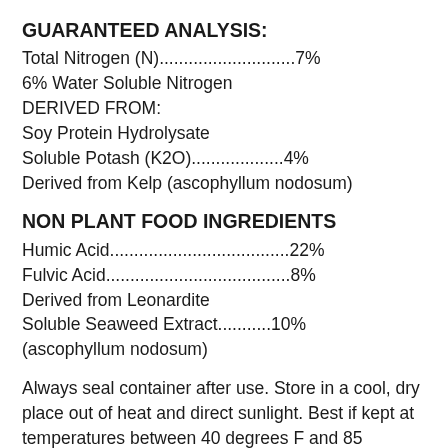GUARANTEED ANALYSIS:
Total Nitrogen (N)............................7%
6% Water Soluble Nitrogen
DERIVED FROM:
Soy Protein Hydrolysate
Soluble Potash (K2O)...................4%
Derived from Kelp (ascophyllum nodosum)
NON PLANT FOOD INGREDIENTS
Humic Acid.....................................22%
Fulvic Acid......................................8%
Derived from Leonardite
Soluble Seaweed Extract...........10%
(ascophyllum nodosum)
Always seal container after use. Store in a cool, dry place out of heat and direct sunlight. Best if kept at temperatures between 40 degrees F and 85